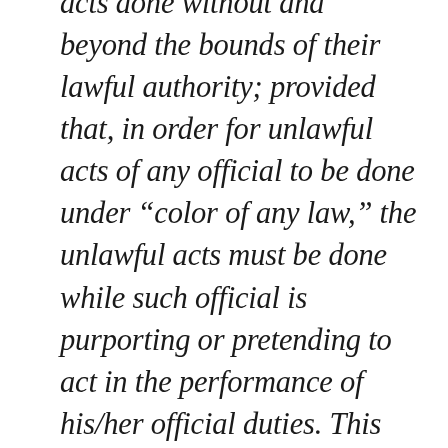acts done without and beyond the bounds of their lawful authority; provided that, in order for unlawful acts of any official to be done under “color of any law,” the unlawful acts must be done while such official is purporting or pretending to act in the performance of his/her official duties. This definition includes, in addition to law enforcement officials, individuals such as Mayors, Council persons, Judges,